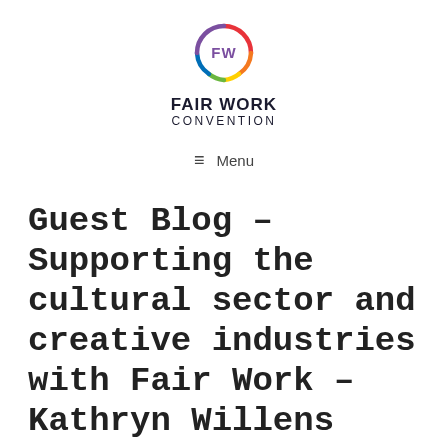[Figure (logo): Fair Work Convention logo: a circular ring with rainbow gradient colors and 'FW' text inside in purple, with 'FAIR WORK CONVENTION' text below in bold dark font]
≡  Menu
Guest Blog – Supporting the cultural sector and creative industries with Fair Work – Kathryn Willens
June 7, 2022